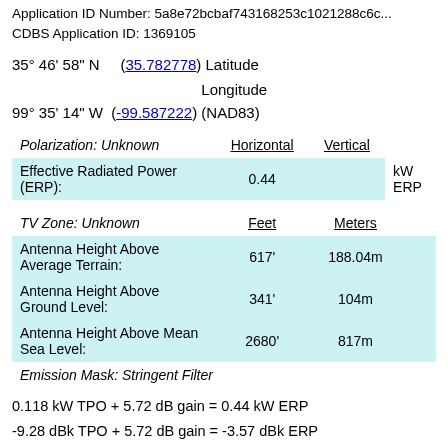Application ID Number: 5a8e72bcbaf743168253c1021288c6c... CDBS Application ID: 1369105
35° 46' 58" N    (35.782778) Latitude
99° 35' 14" W  (-99.587222) Longitude (NAD83)
|  | Horizontal | Vertical |  |
| --- | --- | --- | --- |
| Polarization: Unknown | Horizontal | Vertical |  |
| Effective Radiated Power (ERP): | 0.44 |  | kW ERP |
|  | Feet | Meters |
| --- | --- | --- |
| TV Zone: Unknown | Feet | Meters |
| Antenna Height Above Average Terrain: | 617' | 188.04m |
| Antenna Height Above Ground Level: | 341' | 104m |
| Antenna Height Above Mean Sea Level: | 2680' | 817m |
| Emission Mask: Stringent Filter |  |  |
0.118 kW TPO + 5.72 dB gain = 0.44 kW ERP
-9.28 dBk TPO + 5.72 dB gain = -3.57 dBk ERP